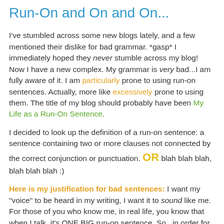Run-On and On and On...
I've stumbled across some new blogs lately, and a few mentioned their dislike for bad grammar. *gasp* I immediately hoped they never stumble across my blog! Now I have a new complex. My grammar is very bad...I am fully aware of it. I am particularly prone to using run-on sentences. Actually, more like excessively prone to using them. The title of my blog should probably have been My Life as a Run-On Sentence.
I decided to look up the definition of a run-on sentence: a sentence containing two or more clauses not connected by the correct conjunction or punctuation. OR blah blah blah, blah blah blah :)
Here is my justification for bad sentences: I want my "voice" to be heard in my writing, I want it to sound like me. For those of you who know me, in real life, you know that when I talk, it's ONE BIG run-on sentence. So...in order for me to keep it real, I am forced to continually commit to using run-